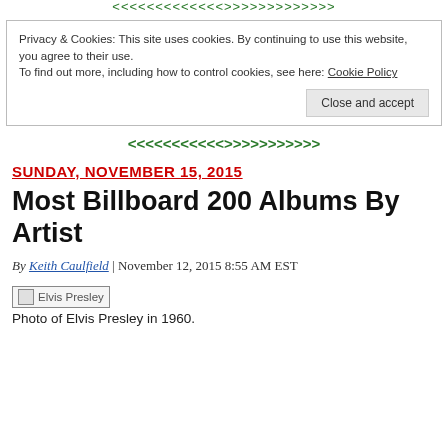< < < < < < < < < < < > > > > > > > > > > > >
Privacy & Cookies: This site uses cookies. By continuing to use this website, you agree to their use.
To find out more, including how to control cookies, see here: Cookie Policy
Close and accept
< < < < < < < < < < < > > > > > > > > > > > >
SUNDAY, NOVEMBER 15, 2015
Most Billboard 200 Albums By Artist
By Keith Caulfield | November 12, 2015 8:55 AM EST
[Figure (photo): Elvis Presley image placeholder]
Photo of Elvis Presley in 1960.